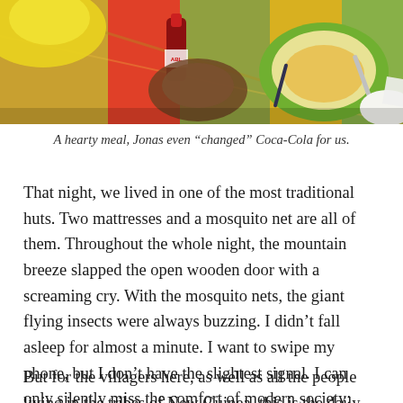[Figure (photo): A colorful photo of a meal scene on a patterned tablecloth, showing food, a bottle (appears to be ABL sauce), a green plate with soup or liquid, and other dishes.]
A hearty meal, Jonas even “changed” Coca-Cola for us.
That night, we lived in one of the most traditional huts. Two mattresses and a mosquito net are all of them. Throughout the whole night, the mountain breeze slapped the open wooden door with a screaming cry. With the mosquito nets, the giant flying insects were always buzzing. I didn’t fall asleep for almost a minute. I want to swipe my phone, but I don’t have the slightest signal. I can only silently miss the comfort of modern society: even the damp and dark hotel room the night before, it seems to be heaven.
But for the villagers here, as well as all the people living in the tribes of New Guinea, this is the daily routine. As